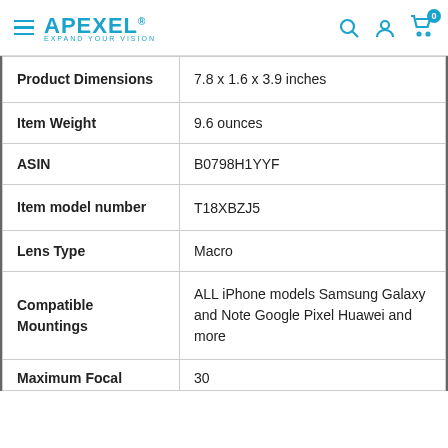APEXEL® EXPAND YOUR VISION
| Attribute | Value |
| --- | --- |
| Product Dimensions | 7.8 x 1.6 x 3.9 inches |
| Item Weight | 9.6 ounces |
| ASIN | B0798H1YYF |
| Item model number | T18XBZJ5 |
| Lens Type | Macro |
| Compatible Mountings | ALL iPhone models Samsung Galaxy and Note Google Pixel Huawei and more |
| Maximum Focal | 30 |